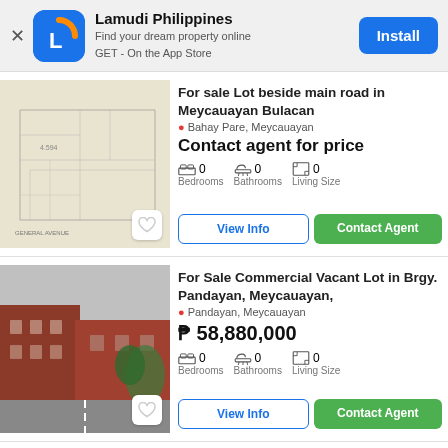[Figure (screenshot): Lamudi Philippines app install banner with logo, tagline, and Install button]
For sale Lot beside main road in Meycauayan Bulacan
Bahay Pare, Meycauayan
Contact agent for price
0 Bedrooms   0 Bathrooms   0 Living Size
View Info   Contact Agent
For Sale Commercial Vacant Lot in Brgy. Pandayan, Meycauayan,
Pandayan, Meycauayan
₱ 58,880,000
0 Bedrooms   0 Bathrooms   0 Living Size
View Info   Contact Agent